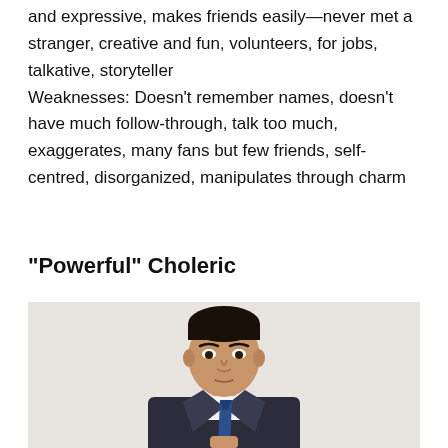and expressive, makes friends easily—never met a stranger, creative and fun, volunteers, for jobs, talkative, storyteller
Weaknesses: Doesn't remember names, doesn't have much follow-through, talk too much, exaggerates, many fans but few friends, self-centred, disorganized, manipulates through charm
"Powerful" Choleric
[Figure (photo): Portrait photo of a young South Asian man in a suit and tie, looking at camera with a serious expression, white/light grey background, cropped at chest level with one hand visible]